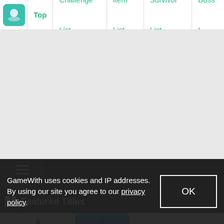Top | Challenge List | Item List | Survivor List | Boss L
[Figure (screenshot): Gray advertisement/placeholder area]
Menu
Featured Titles
[Figure (screenshot): Game thumbnails: white creature on left, blue sky game icon on right]
GameWith uses cookies and IP addresses. By using our site you agree to our privacy policy.